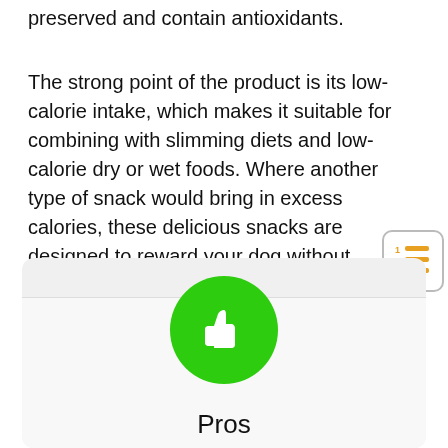These biscuit shaped treats are naturally preserved and contain antioxidants.
The strong point of the product is its low-calorie intake, which makes it suitable for combining with slimming diets and low-calorie dry or wet foods. Where another type of snack would bring in excess calories, these delicious snacks are designed to reward your dog without compromising his regular diet.
[Figure (other): Table of contents icon with orange numbered lines]
[Figure (illustration): Green circle with white thumbs-up icon above the word Pros]